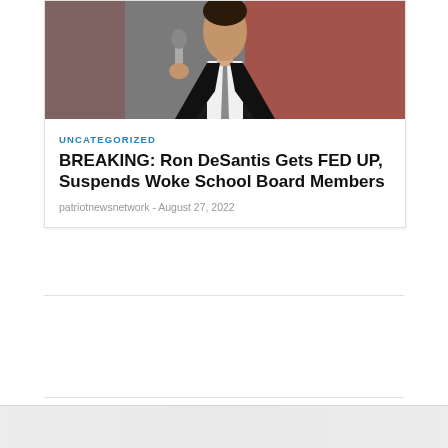[Figure (photo): Photo of a man in a dark suit and tie speaking at a microphone, cropped to show neck and lower face area]
UNCATEGORIZED
BREAKING: Ron DeSantis Gets FED UP, Suspends Woke School Board Members
patriotnewsnetwork - August 27, 2022